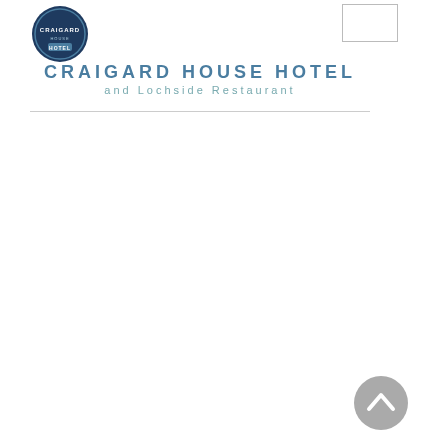[Figure (logo): Craigard House Hotel circular navy blue logo badge with 'HOTEL' text]
[Figure (other): Blank stamp/postage box outline in upper right]
CRAIGARD HOUSE HOTEL
and Lochside Restaurant
[Figure (other): Back-to-top navigation button, grey circle with upward chevron arrow, bottom right corner]